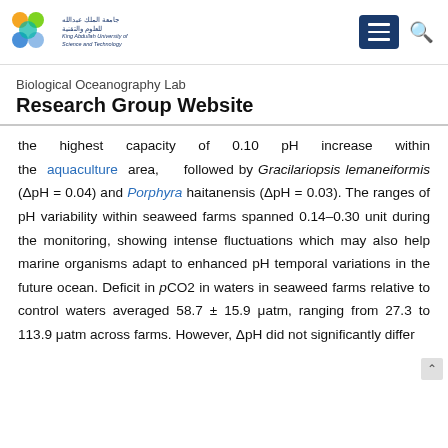[Figure (logo): King Abdullah University of Science and Technology (KAUST) logo with colored circles and Arabic/English text]
Biological Oceanography Lab
Research Group Website
the highest capacity of 0.10 pH increase within the aquaculture area, followed by Gracilariopsis lemaneiformis (ΔpH = 0.04) and Porphyra haitanensis (ΔpH = 0.03). The ranges of pH variability within seaweed farms spanned 0.14–0.30 unit during the monitoring, showing intense fluctuations which may also help marine organisms adapt to enhanced pH temporal variations in the future ocean. Deficit in pCO2 in waters in seaweed farms relative to control waters averaged 58.7 ± 15.9 μatm, ranging from 27.3 to 113.9 μatm across farms. However, ΔpH did not significantly differ